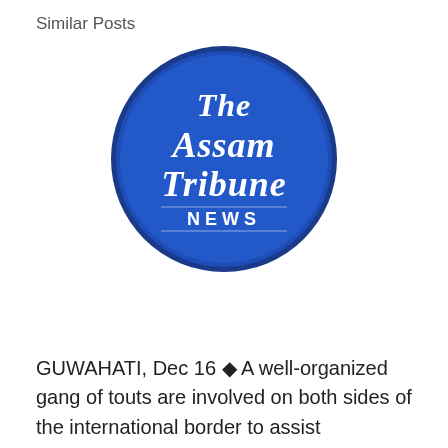Similar Posts
[Figure (logo): The Assam Tribune NEWS circular logo — blue circle with white old-English style text reading 'The Assam Tribune' and 'NEWS' below a horizontal line]
GUWAHATI, Dec 16 ◆ A well-organized gang of touts are involved on both sides of the international border to assist Bangladeshi nationals to infiltrate into India. This